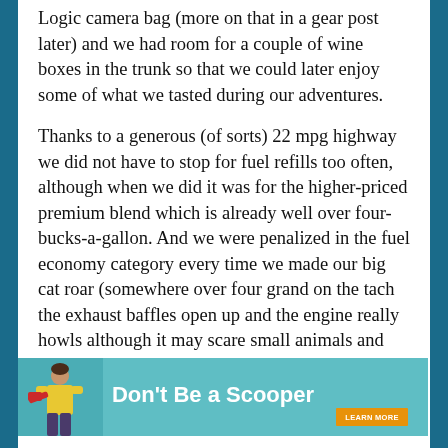Logic camera bag (more on that in a gear post later) and we had room for a couple of wine boxes in the trunk so that we could later enjoy some of what we tasted during our adventures.
Thanks to a generous (of sorts) 22 mpg highway we did not have to stop for fuel refills too often, although when we did it was for the higher-priced premium blend which is already well over four-bucks-a-gallon. And we were penalized in the fuel economy category every time we made our big cat roar (somewhere over four grand on the tach the exhaust baffles open up and the engine really howls although it may scare small animals and the faint-of-heart).
[Figure (infographic): Advertisement banner for litter-robot product. Text reads: 'Don't Be a Scooper' with a LEARN MORE button. Features a woman in yellow cardigan holding a red scoop on a teal background.]